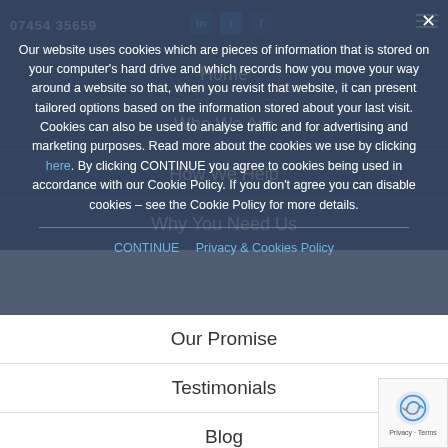07454 35659
Our website uses cookies which are pieces of information that is stored on your computer's hard drive and which records how you move your way around a website so that, when you revisit that website, it can present tailored options based on the information stored about your last visit. Cookies can also be used to analyse traffic and for advertising and marketing purposes. Read more about the cookies we use by clicking here. By clicking CONTINUE you agree to cookies being used in accordance with our Cookie Policy. If you don't agree you can disable cookies – see the Cookie Policy for more details.
CONTINUE   Privacy & Cookies Policy
Home
Who We Are
How We Help
Why You Need Us
Our Promise
Testimonials
Blog
Contact